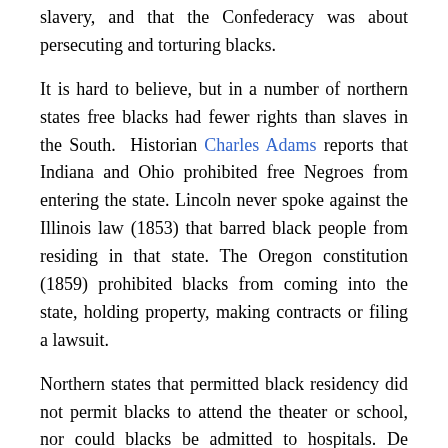slavery, and that the Confederacy was about persecuting and torturing blacks.
It is hard to believe, but in a number of northern states free blacks had fewer rights than slaves in the South. Historian Charles Adams reports that Indiana and Ohio prohibited free Negroes from entering the state. Lincoln never spoke against the Illinois law (1853) that barred black people from residing in that state. The Oregon constitution (1859) prohibited blacks from coming into the state, holding property, making contracts or filing a lawsuit.
Northern states that permitted black residency did not permit blacks to attend the theater or school, nor could blacks be admitted to hospitals. De Tocqueville wrote that the southern people were "much more tolerant and compassionate" toward blacks than were northerners. In 1862 the North British Review wrote that "free Negroes are treated like lepers" in the north.